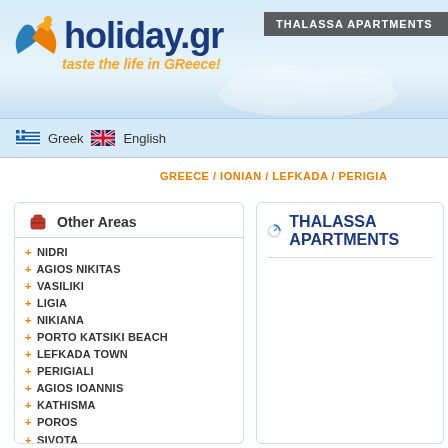[Figure (logo): holiday.gr logo with X figure and tagline 'taste the life in GReece!']
THALASSA APARTMENTS
Greek | English (language selector with flags)
GREECE / IONIAN / LEFKADA / PERIGIA...
Other Areas
+ NIDRI
+ AGIOS NIKITAS
+ VASILIKI
+ LIGIA
+ NIKIANA
+ PORTO KATSIKI BEACH
+ LEFKADA TOWN
+ PERIGIALI
+ AGIOS IOANNIS
+ KATHISMA
+ POROS
+ SIVOTA
+ KALAMITSI
+ TSOUKALADES
+ LAZARATA
+ EPISKOPOS
+ KARIA
+ ATHANI
+ AKROTIRI LEFKATA
+ SYVROS
THALASSA APARTMENTS